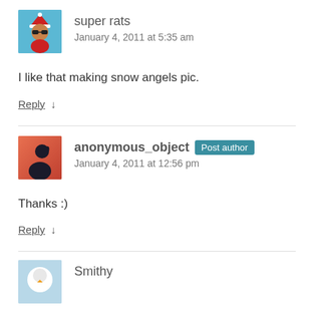[Figure (illustration): Avatar of user 'super rats' — cartoon rat dressed as Santa Claus with sunglasses on a blue background]
super rats
January 4, 2011 at 5:35 am
I like that making snow angels pic.
Reply ↓
[Figure (illustration): Avatar of user 'anonymous_object' — dark silhouette of a person against a warm sunset/orange-red background]
anonymous_object Post author
January 4, 2011 at 12:56 pm
Thanks :)
Reply ↓
[Figure (illustration): Avatar of user 'Smithy' — partial view, appears to be a bird or animal on light blue background]